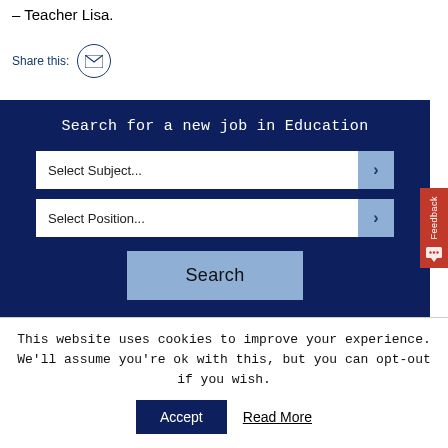– Teacher Lisa.
Share this:
Search for a new job in Education
Select Subject...
Select Position...
Search
Feedback
This website uses cookies to improve your experience. We'll assume you're ok with this, but you can opt-out if you wish.
Accept
Read More